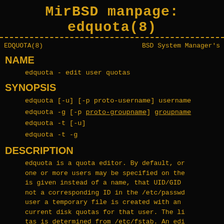MirBSD manpage: edquota(8)
EDQUOTA(8)                BSD System Manager's
NAME
edquota - edit user quotas
SYNOPSIS
edquota [-u] [-p proto-username] username
edquota -g [-p proto-groupname] groupname
edquota -t [-u]
edquota -t -g
DESCRIPTION
edquota is a quota editor. By default, or one or more users may be specified on the is given instead of a name, that UID/GID not a corresponding ID in the /etc/passwd user a temporary file is created with an current disk quotas for that user. The li tas is determined from /etc/fstab. An edi file. The editor invoked is vi(1) unless